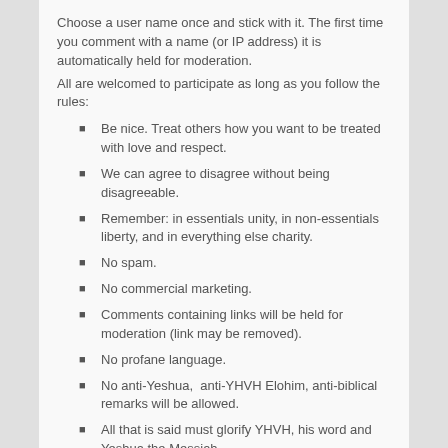Choose a user name once and stick with it. The first time you comment with a name (or IP address) it is automatically held for moderation.
All are welcomed to participate as long as you follow the rules:
Be nice. Treat others how you want to be treated with love and respect.
We can agree to disagree without being disagreeable.
Remember: in essentials unity, in non-essentials liberty, and in everything else charity.
No spam.
No commercial marketing.
Comments containing links will be held for moderation (link may be removed).
No profane language.
No anti-Yeshua,  anti-YHVH Elohim, anti-biblical remarks will be allowed.
All that is said must glorify YHVH, his word and Yeshua the Messiah.